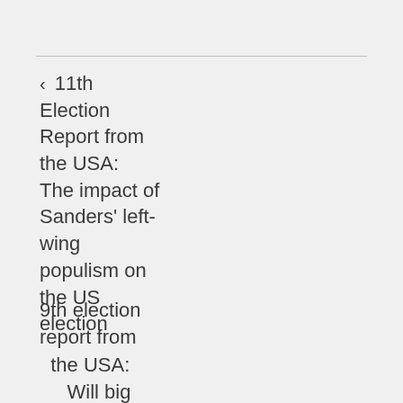‹ 11th Election Report from the USA: The impact of Sanders' left-wing populism on the US election
9th election report from the USA: Will big money